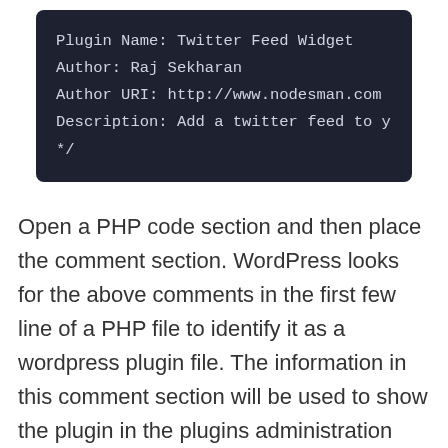[Figure (screenshot): Dark-themed code block showing PHP plugin comment header with fields: Plugin Name: Twitter Feed Widget, Author: Raj Sekharan, Author URI: http://www.nodesman.com, Description: Add a twitter feed to y, */]
Open a PHP code section and then place the comment section. WordPress looks for the above comments in the first few line of a PHP file to identify it as a wordpress plugin file. The information in this comment section will be used to show the plugin in the plugins administration page.